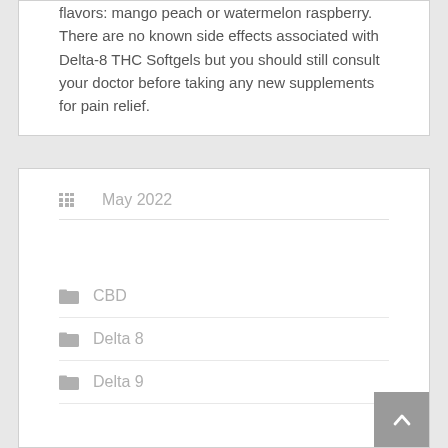flavors: mango peach or watermelon raspberry. There are no known side effects associated with Delta-8 THC Softgels but you should still consult your doctor before taking any new supplements for pain relief.
May 2022
CBD
Delta 8
Delta 9